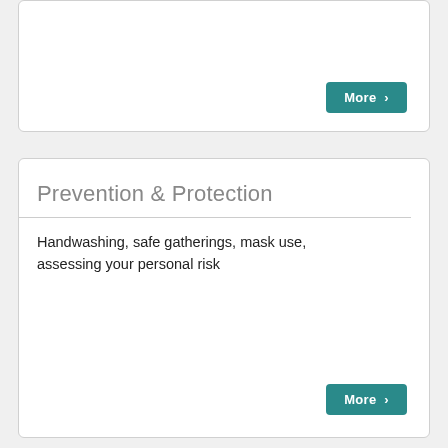[Figure (other): Top card with a More button, partial view (content above is cropped)]
Prevention & Protection
Handwashing, safe gatherings, mask use, assessing your personal risk